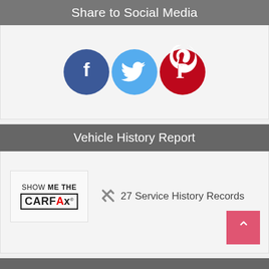Share to Social Media
[Figure (infographic): Three social media icon circles: Facebook (dark blue), Twitter (light blue), Pinterest (dark red)]
Vehicle History Report
[Figure (logo): SHOW ME THE CARFAX logo]
27 Service History Records